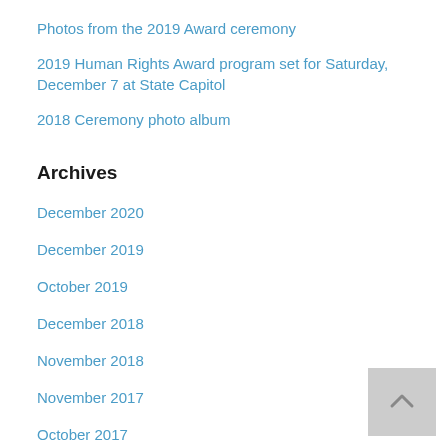Photos from the 2019 Award ceremony
2019 Human Rights Award program set for Saturday, December 7 at State Capitol
2018 Ceremony photo album
Archives
December 2020
December 2019
October 2019
December 2018
November 2018
November 2017
October 2017
Categories